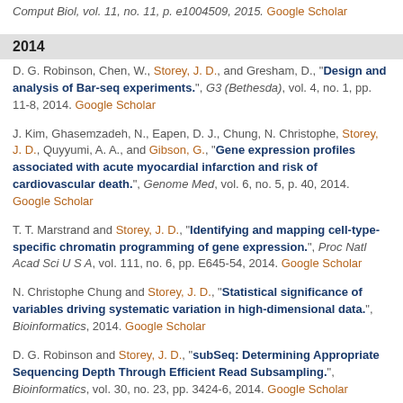Comput Biol, vol. 11, no. 11, p. e1004509, 2015. Google Scholar
2014
D. G. Robinson, Chen, W., Storey, J. D., and Gresham, D., "Design and analysis of Bar-seq experiments.", G3 (Bethesda), vol. 4, no. 1, pp. 11-8, 2014. Google Scholar
J. Kim, Ghasemzadeh, N., Eapen, D. J., Chung, N. Christophe, Storey, J. D., Quyyumi, A. A., and Gibson, G., "Gene expression profiles associated with acute myocardial infarction and risk of cardiovascular death.", Genome Med, vol. 6, no. 5, p. 40, 2014. Google Scholar
T. T. Marstrand and Storey, J. D., "Identifying and mapping cell-type-specific chromatin programming of gene expression.", Proc Natl Acad Sci U S A, vol. 111, no. 6, pp. E645-54, 2014. Google Scholar
N. Christophe Chung and Storey, J. D., "Statistical significance of variables driving systematic variation in high-dimensional data.", Bioinformatics, 2014. Google Scholar
D. G. Robinson and Storey, J. D., "subSeq: Determining Appropriate Sequencing Depth Through Efficient Read Subsampling.", Bioinformatics, vol. 30, no. 23, pp. 3424-6, 2014. Google Scholar